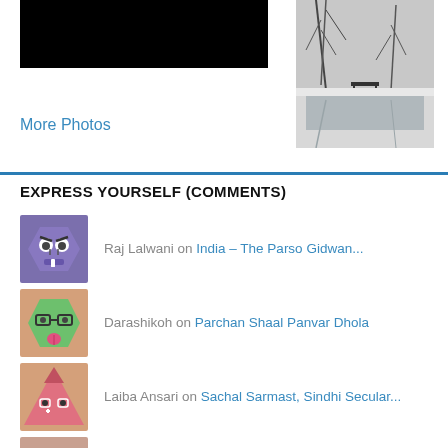[Figure (photo): Black photo strip on left top]
[Figure (photo): Black and white photo of a snowy park/lake scene on the right]
More Photos
EXPRESS YOURSELF (COMMENTS)
Raj Lalwani on India – The Parso Gidwan...
Darashikoh on Parchan Shaal Panvar Dhola
Laiba Ansari on Sachal Sarmast, Sindhi Secular...
Susan on Lemon Juice Eradicate my Chron...
Chitkara University... on Pakistani universities climbin...